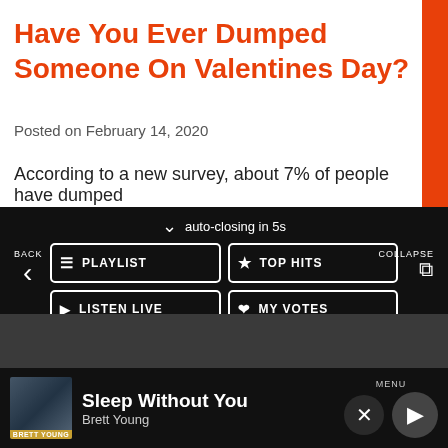Have You Ever Dumped Someone On Valentines Day?
Posted on February 14, 2020
According to a new survey, about 7% of people have dumped
[Figure (screenshot): Radio app overlay menu with auto-closing countdown showing navigation buttons: PLAYLIST, TOP HITS, LISTEN LIVE, MY VOTES, CONTROLS, plus Data opt-out toggle, and now-playing bar showing 'Sleep Without You' by Brett Young with MENU, close and play buttons.]